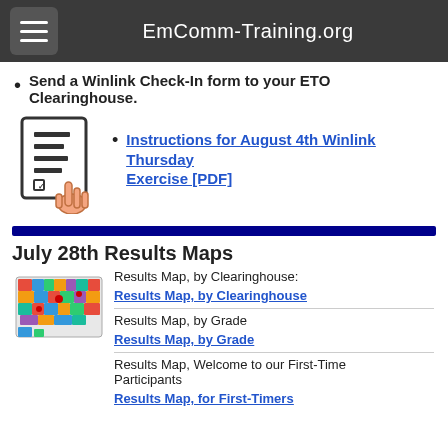EmComm-Training.org
Send a Winlink Check-In form to your ETO Clearinghouse.
[Figure (illustration): Icon of a form/checklist with a hand pointing at it]
Instructions for August 4th Winlink Thursday Exercise [PDF]
July 28th Results Maps
[Figure (map): Colorful US map showing states with pins/markers]
Results Map, by Clearinghouse:
Results Map, by Clearinghouse
Results Map, by Grade
Results Map, by Grade
Results Map, Welcome to our First-Time Participants
Results Map, for First-Timers